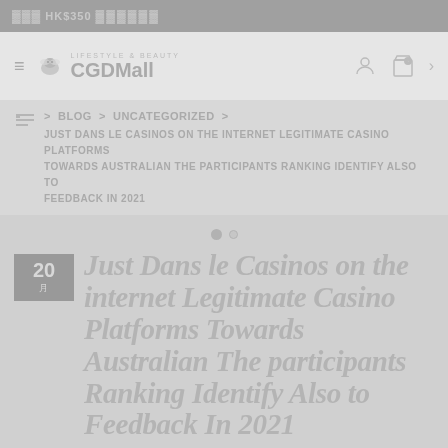HK$350
CGDMall
BLOG > UNCATEGORIZED > JUST DANS LE CASINOS ON THE INTERNET LEGITIMATE CASINO PLATFORMS TOWARDS AUSTRALIAN THE PARTICIPANTS RANKING IDENTIFY ALSO TO FEEDBACK IN 2021
Just Dans le Casinos on the internet Legitimate Casino Platforms Towards Australian The participants Ranking Identify Also to Feedback In 2021